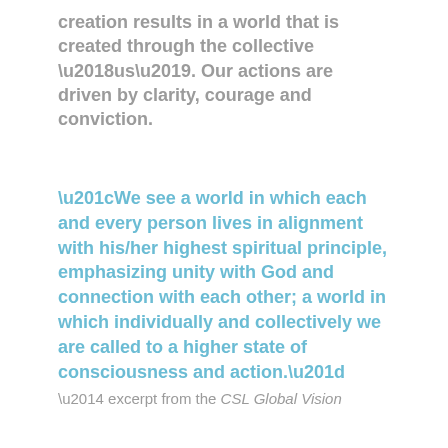creation results in a world that is created through the collective 'us'. Our actions are driven by clarity, courage and conviction.
“We see a world in which each and every person lives in alignment with his/her highest spiritual principle, emphasizing unity with God and connection with each other; a world in which individually and collectively we are called to a higher state of consciousness and action.”
— excerpt from the CSL Global Vision